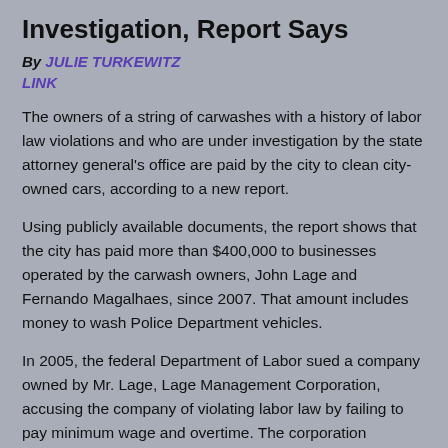Investigation, Report Says
By JULIE TURKEWITZ
LINK
The owners of a string of carwashes with a history of labor law violations and who are under investigation by the state attorney general’s office are paid by the city to clean city-owned cars, according to a new report.
Using publicly available documents, the report shows that the city has paid more than $400,000 to businesses operated by the carwash owners, John Lage and Fernando Magalhaes, since 2007. That amount includes money to wash Police Department vehicles.
In 2005, the federal Department of Labor sued a company owned by Mr. Lage, Lage Management Corporation, accusing the company of violating labor law by failing to pay minimum wage and overtime. The corporation eventually agreed to pay $4.7 million in back wages and damages to more than 1,300 employees.
In March 2012, the state attorney general’s office announced that it had